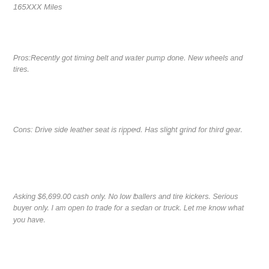165XXX Miles
Pros:Recently got timing belt and water pump done. New wheels and tires.
Cons: Drive side leather seat is ripped. Has slight grind for third gear.
Asking $6,699.00 cash only. No low ballers and tire kickers. Serious buyer only. I am open to trade for a sedan or truck. Let me know what you have.